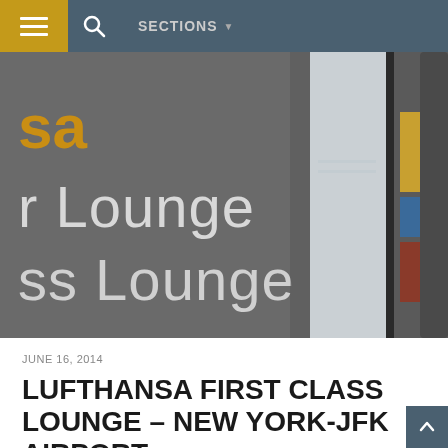SECTIONS
[Figure (photo): Interior of Lufthansa lounge showing signage with 'sa', 'r Lounge', 'ss Lounge' text in gold and white on grey wall, with frosted glass partitions on the right side.]
JUNE 16, 2014
LUFTHANSA FIRST CLASS LOUNGE – NEW YORK-JFK AIRPORT